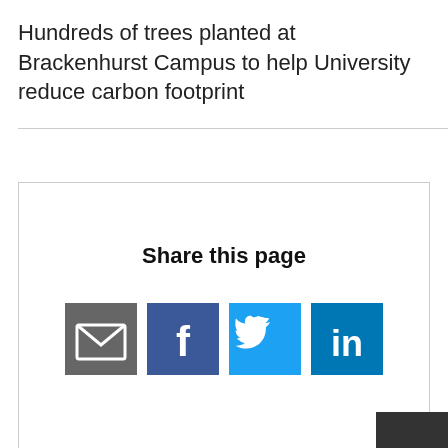Hundreds of trees planted at Brackenhurst Campus to help University reduce carbon footprint
[Figure (infographic): Share this page widget with email, Facebook, Twitter, and LinkedIn icons]